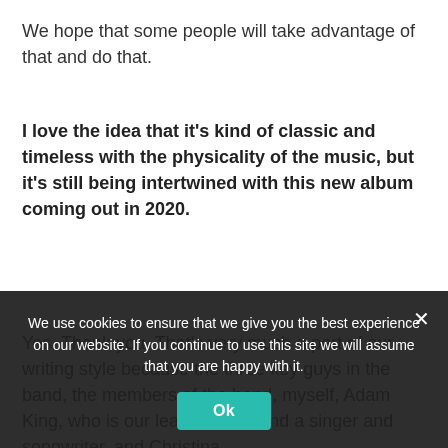We hope that some people will take advantage of that and do that.
I love the idea that it’s kind of classic and timeless with the physicality of the music, but it’s still being intertwined with this new album coming out in 2020.
Yes. Thank you. That’s very much a part of our writing style because the three key guys in the band, the members of the band, myself, Adam King, who is our lead vocalist and a singer and songwriter, and Christina...
We use cookies to ensure that we give you the best experience on our website. If you continue to use this site we will assume that you are happy with it.
Ok